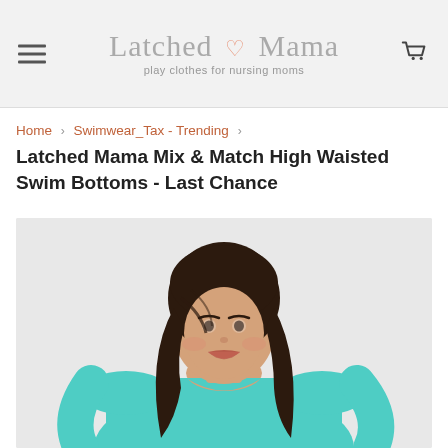[Figure (logo): Latched Mama logo with heart icon and tagline 'play clothes for nursing moms', hamburger menu icon on left, shopping cart icon on right, on a light gray header bar]
Home › Swimwear_Tax - Trending ›
Latched Mama Mix & Match High Waisted Swim Bottoms - Last Chance
[Figure (photo): A smiling brunette woman wearing a teal/aqua long-sleeve top, photographed from the waist up against a light gray/white background]